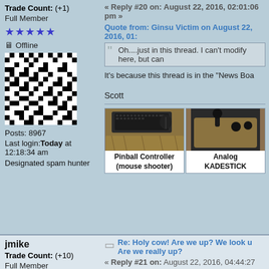Trade Count: (+1)
Full Member
[Figure (illustration): Five blue star rating icons]
Offline
[Figure (photo): Black and white crossword-style avatar image]
Posts: 8967
Last login: Today at 12:18:34 am
Designated spam hunter
« Reply #20 on: August 22, 2016, 02:01:06 pm »
Quote from: Ginsu Victim on August 22, 2016, 01:
Oh....just in this thread. I can't modify here, but can
It's because this thread is in the "News Boa
Scott
[Figure (photo): A wooden Pinball Controller (mouse shooter) device with keyboard and mouse on top]
Pinball Controller (mouse shooter)
[Figure (photo): Analog KADESTICK joystick controller on wooden base]
Analog KADESTICK
jmike
Trade Count: (+10)
Full Member
[Figure (illustration): Three gold star rating icons]
Re: Holy cow! Are we up? We look u Are we really up?
« Reply #21 on: August 22, 2016, 04:44:27 pm »